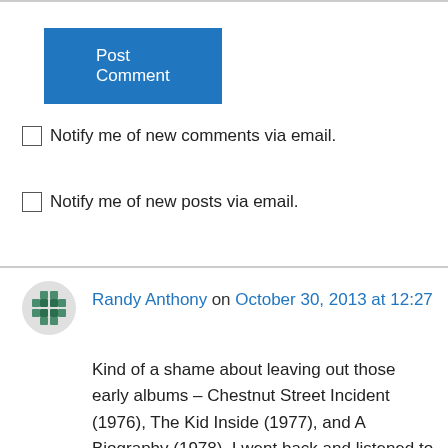Post Comment
Notify me of new comments via email.
Notify me of new posts via email.
Randy Anthony on October 30, 2013 at 12:27
Kind of a shame about leaving out those early albums – Chestnut Street Incident (1976), The Kid Inside (1977), and A Biography (1978). I went back and listened to them recently, and they have some fine moments (in addition to several embarrassing ones, plus lots of mediocre ones). The historian in me is always disappointed when an artist tries to ignore or